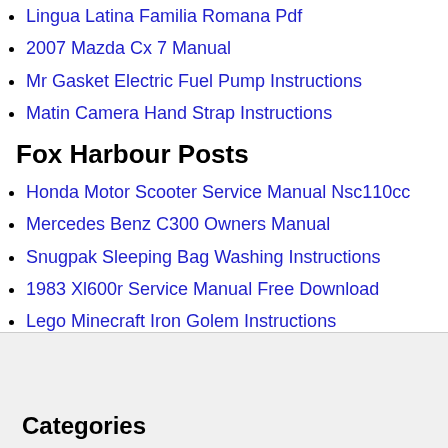Lingua Latina Familia Romana Pdf
2007 Mazda Cx 7 Manual
Mr Gasket Electric Fuel Pump Instructions
Matin Camera Hand Strap Instructions
Fox Harbour Posts
Honda Motor Scooter Service Manual Nsc110cc
Mercedes Benz C300 Owners Manual
Snugpak Sleeping Bag Washing Instructions
1983 Xl600r Service Manual Free Download
Lego Minecraft Iron Golem Instructions
Categories